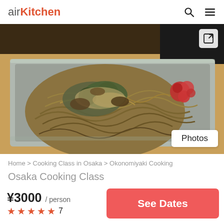airKitchen
[Figure (photo): Yakisoba/okonomiyaki noodle dish on a metal teppan plate with red pickled ginger and green herb toppings, photographed from above at a restaurant.]
Home > Cooking Class in Osaka > Okonomiyaki Cooking
Osaka Cooking Class
¥3000 / person
★★★★★ 7
See Dates